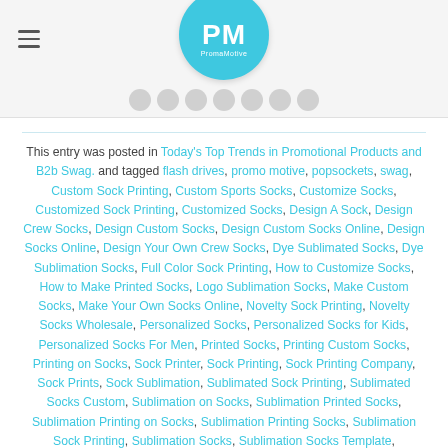PM PromaMotive [logo header with navigation circles]
This entry was posted in Today's Top Trends in Promotional Products and B2b Swag. and tagged flash drives, promo motive, popsockets, swag, Custom Sock Printing, Custom Sports Socks, Customize Socks, Customized Sock Printing, Customized Socks, Design A Sock, Design Crew Socks, Design Custom Socks, Design Custom Socks Online, Design Socks Online, Design Your Own Crew Socks, Dye Sublimated Socks, Dye Sublimation Socks, Full Color Sock Printing, How to Customize Socks, How to Make Printed Socks, Logo Sublimation Socks, Make Custom Socks, Make Your Own Socks Online, Novelty Sock Printing, Novelty Socks Wholesale, Personalized Socks, Personalized Socks for Kids, Personalized Socks For Men, Printed Socks, Printing Custom Socks, Printing on Socks, Sock Printer, Sock Printing, Sock Printing Company, Sock Prints, Sock Sublimation, Sublimated Sock Printing, Sublimated Socks Custom, Sublimation on Socks, Sublimation Printed Socks, Sublimation Printing on Socks, Sublimation Printing Socks, Sublimation Sock Printing, Sublimation Socks, Sublimation Socks Template,